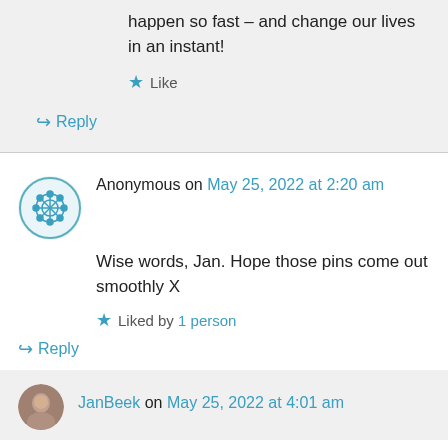happen so fast – and change our lives in an instant!
★ Like
↪ Reply
Anonymous on May 25, 2022 at 2:20 am
Wise words, Jan. Hope those pins come out smoothly X
★ Liked by 1 person
↪ Reply
JanBeek on May 25, 2022 at 4:01 am